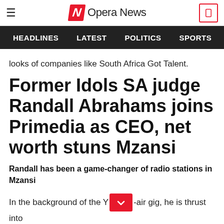Opera News
HEADLINES  LATEST  POLITICS  SPORTS  B
looks of companies like South Africa Got Talent.
Former Idols SA judge Randall Abrahams joins Primedia as CEO, net worth stuns Mzansi
Randall has been a game-changer of radio stations in Mzansi
In the background of the Y-air gig, he is thrust into